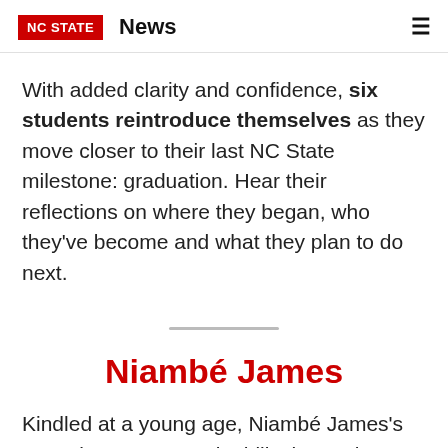NC STATE  News
With added clarity and confidence, six students reintroduce themselves as they move closer to their last NC State milestone: graduation. Hear their reflections on where they began, who they've become and what they plan to do next.
Niambé James
Kindled at a young age, Niambé James's commitment to sustainability has only grown during